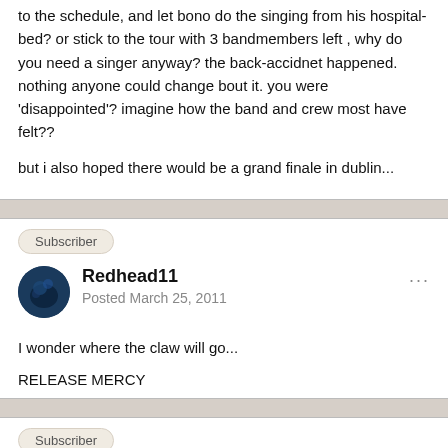to the schedule, and let bono do the singing from his hospital-bed? or stick to the tour with 3 bandmembers left , why do you need a singer anyway? the back-accidnet happened. nothing anyone could change bout it. you were 'disappointed'? imagine how the band and crew most have felt??
but i also hoped there would be a grand finale in dublin...
Subscriber
Redhead11
Posted March 25, 2011
I wonder where the claw will go...
RELEASE MERCY
Subscriber